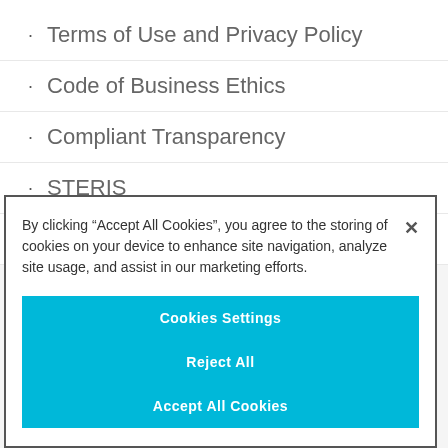Terms of Use and Privacy Policy
Code of Business Ethics
Compliant Transparency
STERIS
Warranty and Returns
By clicking “Accept All Cookies”, you agree to the storing of cookies on your device to enhance site navigation, analyze site usage, and assist in our marketing efforts.
Cookies Settings
Reject All
Accept All Cookies